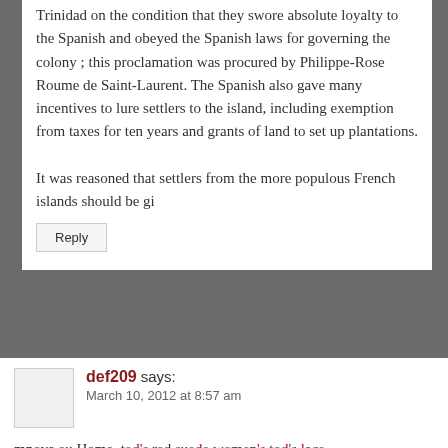Trinidad on the condition that they swore absolute loyalty to the Spanish and obeyed the Spanish laws for governing the colony ; this proclamation was procured by Philippe-Rose Roume de Saint-Laurent. The Spanish also gave many incentives to lure settlers to the island, including exemption from taxes for ten years and grants of land to set up plantations.

It was reasoned that settlers from the more populous French islands should be gi
Reply
def209 says:
March 10, 2012 at 8:57 am
mnova.eu Home ,tod's red suede women's tod's lace moccasins,burberry belt replica,gucci shoes for me,cheap gucci slippers
Direct Download! up to 10X FASTER » (View Demonstration)